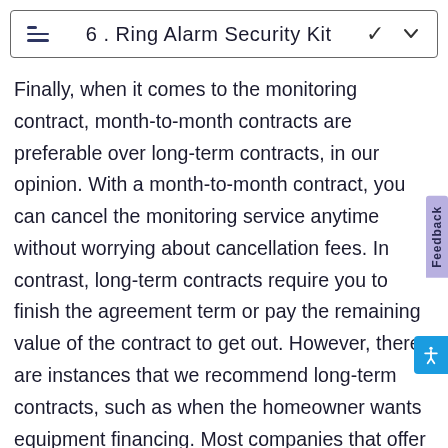6 . Ring Alarm Security Kit
Finally, when it comes to the monitoring contract, month-to-month contracts are preferable over long-term contracts, in our opinion. With a month-to-month contract, you can cancel the monitoring service anytime without worrying about cancellation fees. In contrast, long-term contracts require you to finish the agreement term or pay the remaining value of the contract to get out. However, there are instances that we recommend long-term contracts, such as when the homeowner wants equipment financing. Most companies that offer month-to-month contracts require an upfront equipment purchase, while those with long-term